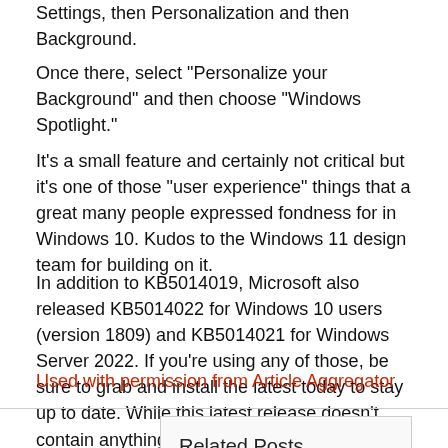Settings, then Personalization and then Background.
Once there, select "Personalize your Background" and then choose "Windows Spotlight."
It's a small feature and certainly not critical but it's one of those "user experience" things that a great many people expressed fondness for in Windows 10.  Kudos to the Windows 11 design team for building on it.
In addition to KB5014019, Microsoft also released KB5014022 for Windows 10 users (version 1809) and KB5014021 for Windows Server 2022.  If you're using any of those, be sure to grab and install the latest today to stay up to date.  While this latest release doesn't contain anything groundbreaking, it's a solid update that won't disappoint.
Used with permission from Article Aggregator
Related Posts